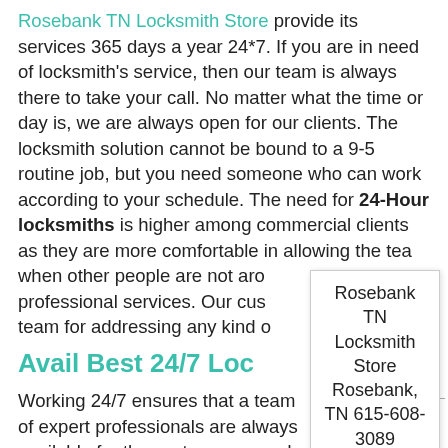Rosebank TN Locksmith Store provide its services 365 days a year 24*7. If you are in need of locksmith's service, then our team is always there to take your call. No matter what the time or day is, we are always open for our clients. The locksmith solution cannot be bound to a 9-5 routine job, but you need someone who can work according to your schedule. The need for 24-Hour locksmiths is higher among commercial clients as they are more comfortable in allowing the team when other people are not around for professional services. Our customers team for addressing any kind of
Rosebank TN Locksmith Store Rosebank, TN 615-608-3089
Avail Best 24/7 Loc
Working 24/7 ensures that a team of expert professionals are always available for the customers round the clock. Here are some highlighted